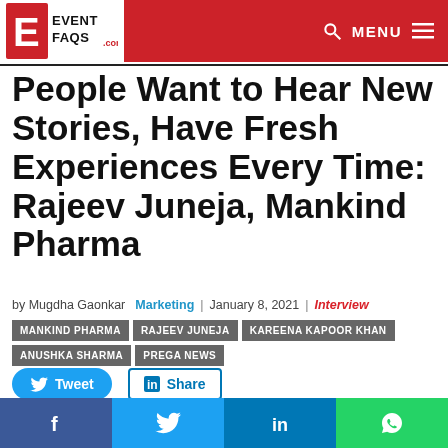EventFAQs.com — MENU
People Want to Hear New Stories, Have Fresh Experiences Every Time: Rajeev Juneja, Mankind Pharma
by Mugdha Gaonkar   Marketing  | January 8, 2021  |  Interview
MANKIND PHARMA
RAJEEV JUNEJA
KAREENA KAPOOR KHAN
ANUSHKA SHARMA
PREGA NEWS
[Figure (other): Tweet and Share social buttons, and bottom social media bar with Facebook, Twitter, LinkedIn, WhatsApp icons]